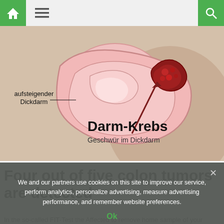Navigation bar with home, menu, and search icons
[Figure (illustration): Medical illustration of colon cancer (Darm-Krebs) showing the ascending colon (aufsteigender Dickdarm) with a tumor (Geschwür im Dickdarm), labeled in German with an arrow pointing to the tumor site.]
Four out of five colon tumors are detected
In the so-called FIT-Test the Affected to remove home sample of your...
We and our partners use cookies on this site to improve our service, perform analytics, personalize advertising, measure advertising performance, and remember website preferences.
Ok